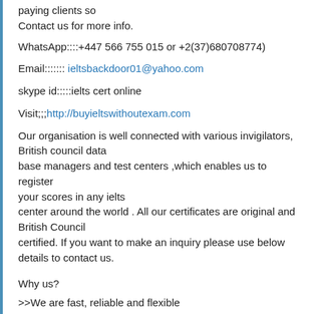paying clients so
Contact us for more info.
WhatsApp::::+447 566 755 015 or +2(37)680708774)
Email::::::: ieltsbackdoor01@yahoo.com
skype id:::::ielts cert online
Visit;;;http://buyieltswithoutexam.com
Our organisation is well connected with various invigilators, British council data base managers and test centers ,which enables us to register your scores in any ielts center around the world . All our certificates are original and British Council certified. If you want to make an inquiry please use below details to contact us.
Why us?
>>We are fast, reliable and flexible
>>We are popular and trusted
>>We are highly experienced in documentation